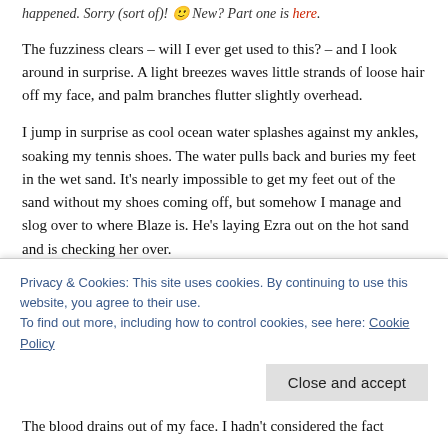happened. Sorry (sort of)! 🙂 New? Part one is here.
The fuzziness clears – will I ever get used to this? – and I look around in surprise. A light breezes waves little strands of loose hair off my face, and palm branches flutter slightly overhead.
I jump in surprise as cool ocean water splashes against my ankles, soaking my tennis shoes. The water pulls back and buries my feet in the wet sand. It's nearly impossible to get my feet out of the sand without my shoes coming off, but somehow I manage and slog over to where Blaze is. He's laying Ezra out on the hot sand and is checking her over.
"Why are we here? Shouldn't we go to headquarters?" I ask grumpily. My hands ache like crazy. My shoes are fairly new, and now they're covered in mud. I may not be a girly-girl like
The blood drains out of my face. I hadn't considered the fact
Privacy & Cookies: This site uses cookies. By continuing to use this website, you agree to their use.
To find out more, including how to control cookies, see here: Cookie Policy
Close and accept